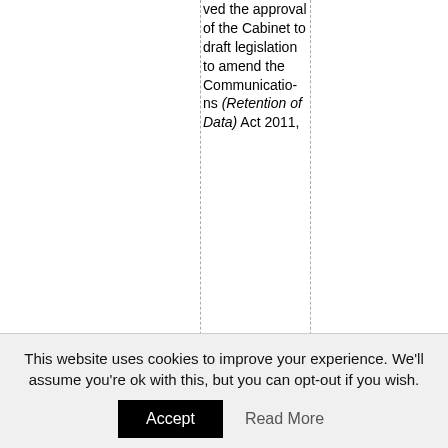ved the approval of the Cabinet to draft legislation to amend the Communications (Retention of Data) Act 2011,
This website uses cookies to improve your experience. We'll assume you're ok with this, but you can opt-out if you wish.